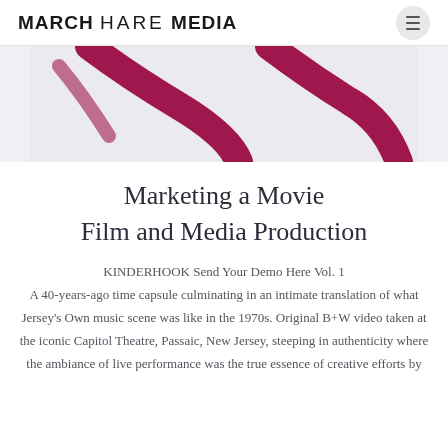MARCH HARE MEDIA
[Figure (illustration): Partial view of a decorative illustration with crimson curved shapes on a light grey background, cropped at the top.]
Marketing a Movie
Film and Media Production
KINDERHOOK Send Your Demo Here Vol. 1
A 40-years-ago time capsule culminating in an intimate translation of what Jersey's Own music scene was like in the 1970s. Original B+W video taken at the iconic Capitol Theatre, Passaic, New Jersey, steeping in authenticity where the ambiance of live performance was the true essence of creative efforts by